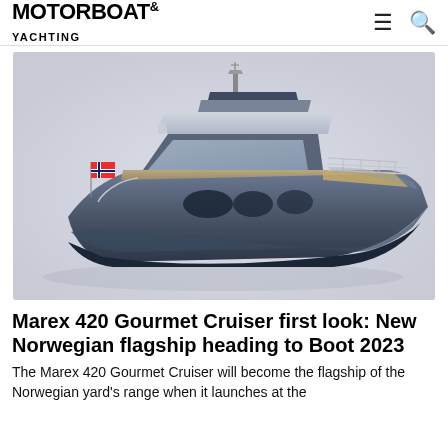MOTORBOAT & YACHTING
[Figure (illustration): 3D render of the Marex 420 Gourmet Cruiser, a large dark blue/grey motor yacht with hardtop, flybridge, Norwegian flag at the bow, chrome railings, and teak deck details, shown on a light grey gradient background.]
Marex 420 Gourmet Cruiser first look: New Norwegian flagship heading to Boot 2023
The Marex 420 Gourmet Cruiser will become the flagship of the Norwegian yard's range when it launches at the